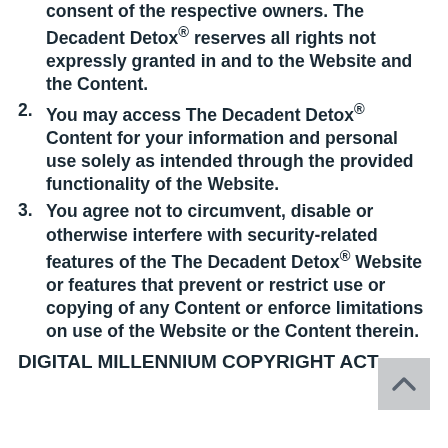consent of the respective owners. The Decadent Detox® reserves all rights not expressly granted in and to the Website and the Content.
2. You may access The Decadent Detox® Content for your information and personal use solely as intended through the provided functionality of the Website.
3. You agree not to circumvent, disable or otherwise interfere with security-related features of the The Decadent Detox® Website or features that prevent or restrict use or copying of any Content or enforce limitations on use of the Website or the Content therein.
DIGITAL MILLENNIUM COPYRIGHT ACT